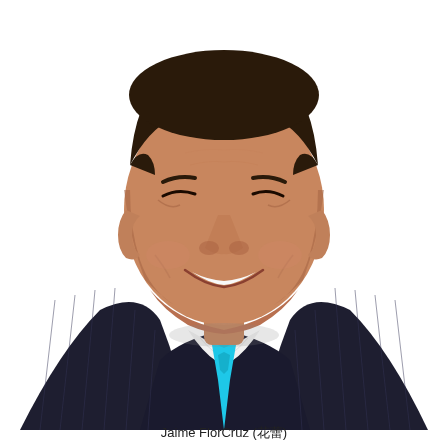[Figure (photo): Professional headshot portrait of a middle-aged Asian man smiling, wearing a dark navy pinstripe suit jacket with a light blue tie and white dress shirt, photographed against a white background.]
Jaime FlorCruz (花蕾)